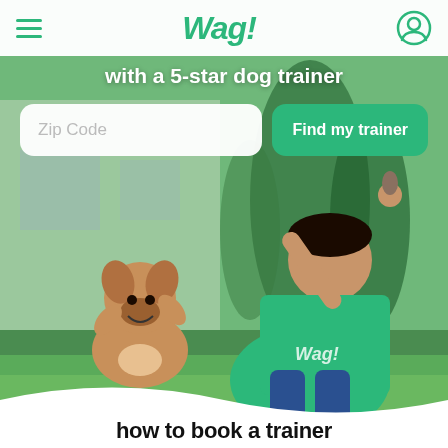Wag!
with a 5-star dog trainer
[Figure (photo): A man in a green Wag! t-shirt kneeling on grass, holding a treat up while a French Bulldog puppy jumps up to reach it outdoors]
Zip Code
Find my trainer
how to book a trainer